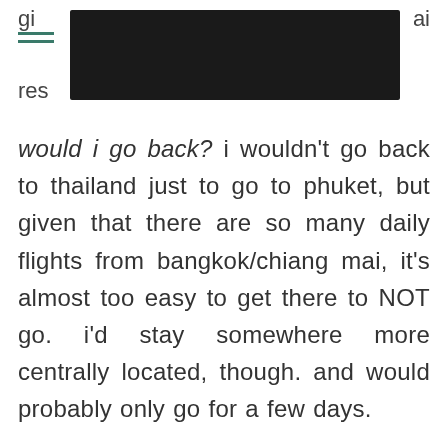gi... ai res...
would i go back? i wouldn't go back to thailand just to go to phuket, but given that there are so many daily flights from bangkok/chiang mai, it's almost too easy to get there to NOT go. i'd stay somewhere more centrally located, though. and would probably only go for a few days.